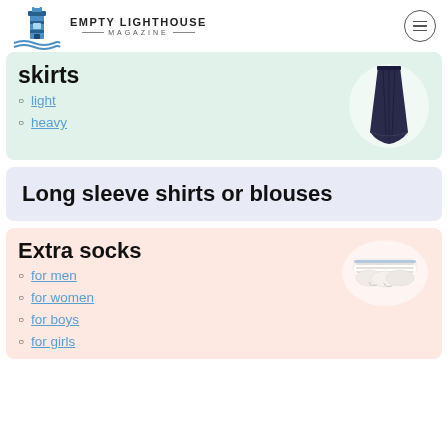EMPTY LIGHTHOUSE MAGAZINE
skirts
light
heavy
[Figure (photo): A dark navy/black pleated long skirt displayed on a white circular background]
Long sleeve shirts or blouses
Extra socks
[Figure (photo): A bundle of white ankle socks with blue trim displayed on a white background]
for men
for women
for boys
for girls